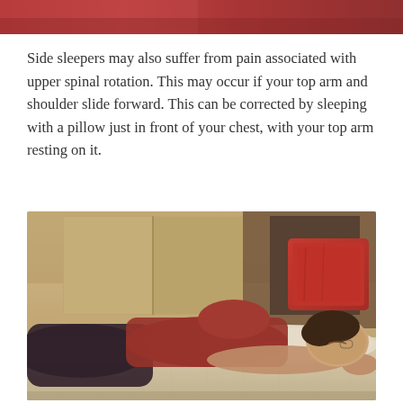[Figure (photo): Partial view of a person lying on a bed, cropped at the top — a continuation of a previous photo]
Side sleepers may also suffer from pain associated with upper spinal rotation. This may occur if your top arm and shoulder slide forward. This can be corrected by sleeping with a pillow just in front of your chest, with your top arm resting on it.
[Figure (photo): A woman wearing a red top and dark pants lying on her side on a bed, sleeping, with a red pillow visible in the background]